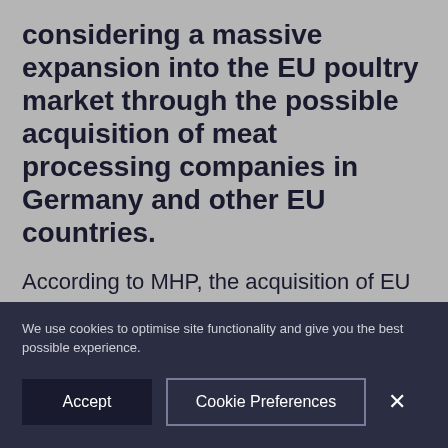considering a massive expansion into the EU poultry market through the possible acquisition of meat processing companies in Germany and other EU countries.
According to MHP, the acquisition of EU poultry processors will allow the Ukrainian company to gain a foothold in the EU market, while, in addition to Germany, the company is also considering acquiring of assets in Italy, Slovakia and France. The amount of the potential deal is estimated in the range of 100-150 million euros.
We use cookies to optimise site functionality and give you the best possible experience.